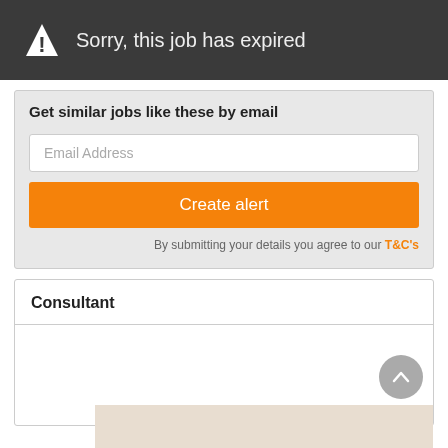Sorry, this job has expired
Get similar jobs like these by email
Email Address
Create alert
By submitting your details you agree to our T&C's
Consultant
[Figure (map): Map placeholder showing a beige/tan map area at the bottom of the consultant section]